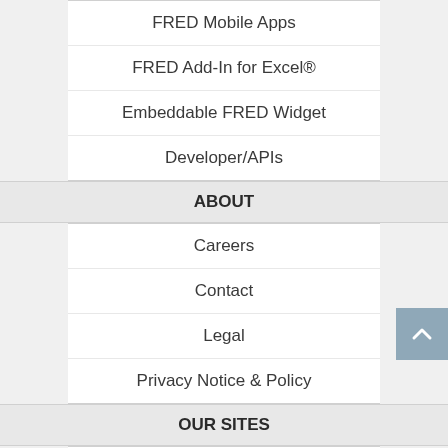FRED Mobile Apps
FRED Add-In for Excel®
Embeddable FRED Widget
Developer/APIs
ABOUT
Careers
Contact
Legal
Privacy Notice & Policy
OUR SITES
St. Louis Fed
Research Division
Education Resources
NEED HELP?
Questions or Comments